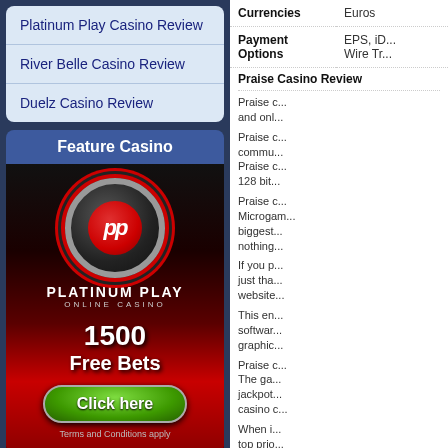Platinum Play Casino Review
River Belle Casino Review
Duelz Casino Review
Feature Casino
[Figure (screenshot): Platinum Play Online Casino advertisement showing a casino chip logo, '1500 Free Bets', a green 'Click here' button, and 'Terms and Conditions apply' text.]
|  |  |
| --- | --- |
| Currencies | Euros |
| Payment Options | EPS, iD... Wire Tr... |
Praise Casino Review
Praise c... and onl...
Praise c... commu... Praise c... 128 bit...
Praise c... Microgam... biggest... nothing...
If you p... just tha... website...
This en... softwar... graphic...
Praise c... The ga... jackpot... casino c...
When i... top prio... main...